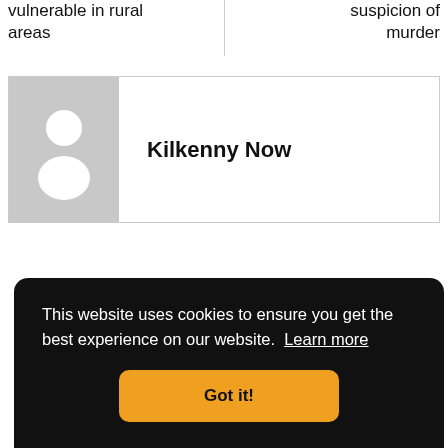vulnerable in rural areas
suspicion of murder
[Figure (illustration): Author avatar placeholder with grey background and white silhouette person icon]
Kilkenny Now
This website uses cookies to ensure you get the best experience on our website. Learn more
Got it!